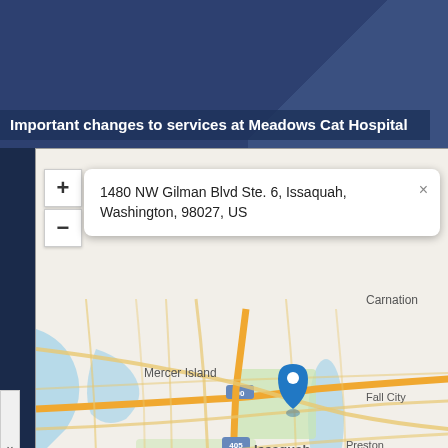Important changes to services at Meadows Cat Hospital
[Figure (map): Interactive map showing location at 1480 NW Gilman Blvd Ste. 6, Issaquah, Washington, 98027, US. Map shows Mercer Island, Renton, Issaquah, Fall City, Preston, Snoqualmie, North B areas with a blue location pin on Issaquah. Map data provided by Leaflet and Internet Brands.]
Follow Us
Find Us On Social Media